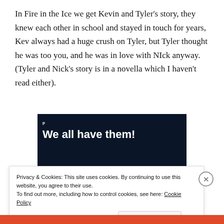In Fire in the Ice we get Kevin and Tyler's story, they knew each other in school and stayed in touch for years, Kev always had a huge crush on Tyler, but Tyler thought he was too you, and he was in love with NIck anyway. (Tyler and Nick's story is in a novella which I haven't read either).
[Figure (screenshot): Advertisement banner with dark navy background showing 'We all have them!' headline text in white, a pink 'Start a survey' button, and a circular Crowd Signal logo.]
Privacy & Cookies: This site uses cookies. By continuing to use this website, you agree to their use.
To find out more, including how to control cookies, see here: Cookie Policy
Close and accept